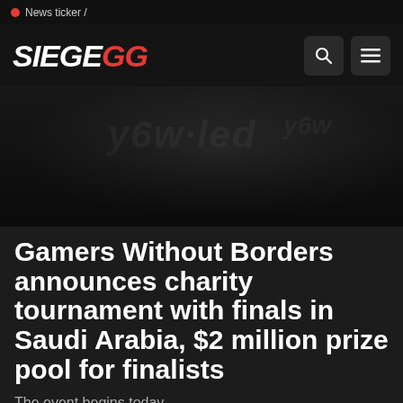News ticker /
[Figure (logo): SiegeGG logo with SIEGE in white and GG in red, italic bold, with search and menu icons]
[Figure (photo): Dark background hero image with blurred gaming/esports imagery]
Gamers Without Borders announces charity tournament with finals in Saudi Arabia, $2 million prize pool for finalists
The event begins today.
< All news · 1 min read